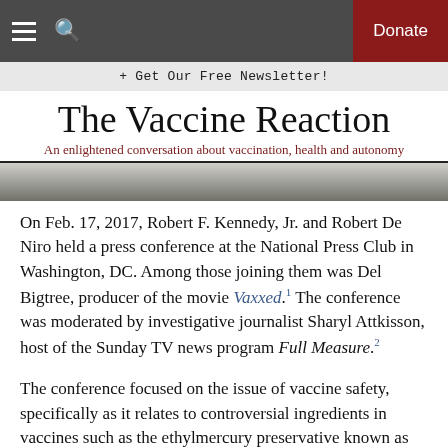☰  🔍  Donate
+ Get Our Free Newsletter!
The Vaccine Reaction
An enlightened conversation about vaccination, health and autonomy
[Figure (photo): Partial image of papers/documents, cropped view]
On Feb. 17, 2017, Robert F. Kennedy, Jr. and Robert De Niro held a press conference at the National Press Club in Washington, DC. Among those joining them was Del Bigtree, producer of the movie Vaxxed.1 The conference was moderated by investigative journalist Sharyl Attkisson, host of the Sunday TV news program Full Measure.2
The conference focused on the issue of vaccine safety, specifically as it relates to controversial ingredients in vaccines such as the ethylmercury preservative known as thimerosal and, more broadly, to the alleged link between thimerosal containing